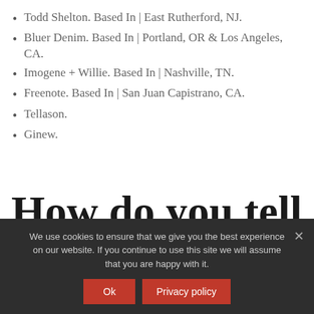Todd Shelton. Based In | East Rutherford, NJ.
Bluer Denim. Based In | Portland, OR & Los Angeles, CA.
Imogene + Willie. Based In | Nashville, TN.
Freenote. Based In | San Juan Capistrano, CA.
Tellason.
Ginew.
How do you tell if food is made in the
We use cookies to ensure that we give you the best experience on our website. If you continue to use this site we will assume that you are happy with it.